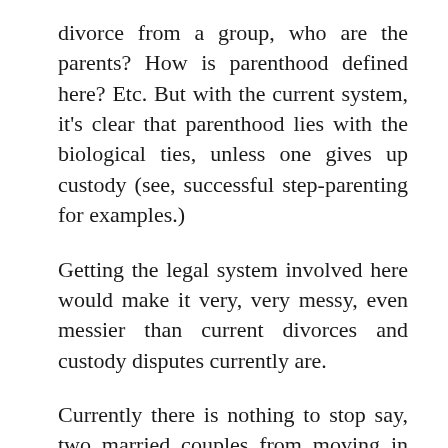divorce from a group, who are the parents? How is parenthood defined here? Etc. But with the current system, it's clear that parenthood lies with the biological ties, unless one gives up custody (see, successful step-parenting for examples.)
Getting the legal system involved here would make it very, very messy, even messier than current divorces and custody disputes currently are.
Currently there is nothing to stop say, two married couples from moving in together and having whatever sexual arrangements they want. They are able to designate power of attorney if they so wish, to the other couple, but that's just touching on the legal complications of having four people involved. This example is assuming that there are no children and they have no intention of having children, but I figure that will not remain true forever. Where does the individual's legal status end, and the group one take over? And again, what